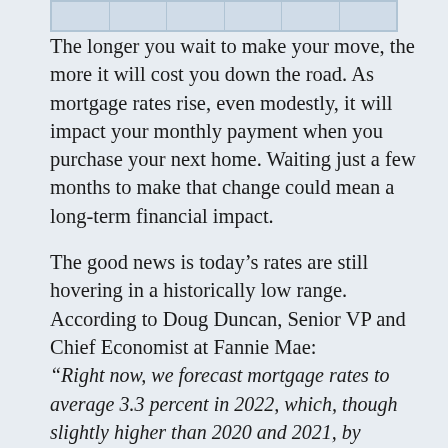|  |
The longer you wait to make your move, the more it will cost you down the road. As mortgage rates rise, even modestly, it will impact your monthly payment when you purchase your next home. Waiting just a few months to make that change could mean a long-term financial impact.
The good news is today’s rates are still hovering in a historically low range. According to Doug Duncan, Senior VP and Chief Economist at Fannie Mae: “Right now, we forecast mortgage rates to average 3.3 percent in 2022, which, though slightly higher than 2020 and 2021, by historical standards remains extremely low . . .” Selling before rates climb higher means you can make your move and lock in a low rate on the